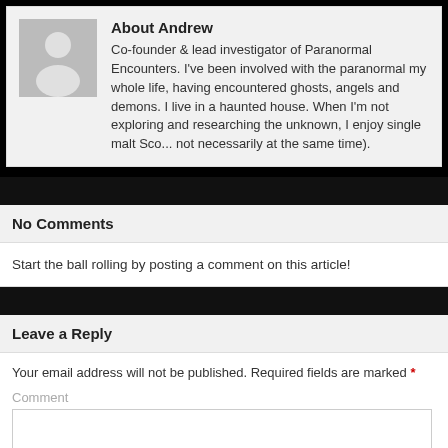About Andrew
Co-founder & lead investigator of Paranormal Encounters. I've been involved with the paranormal my whole life, having encountered ghosts, angels and demons. I live in a haunted house. When I'm not exploring and researching the unknown, I enjoy single malt Sco... not necessarily at the same time).
No Comments
Start the ball rolling by posting a comment on this article!
Leave a Reply
Your email address will not be published. Required fields are marked *
Comment